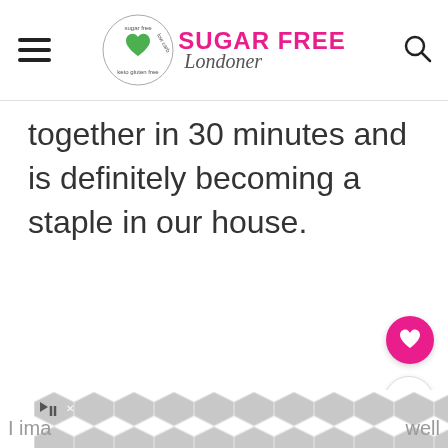Sugar Free Londoner
together in 30 minutes and is definitely becoming a staple in our house.
[Figure (other): Pink heart favourite button and share button floating on right side]
[Figure (other): Advertisement banner with geometric pattern, partially obscuring text 'I ima...well']